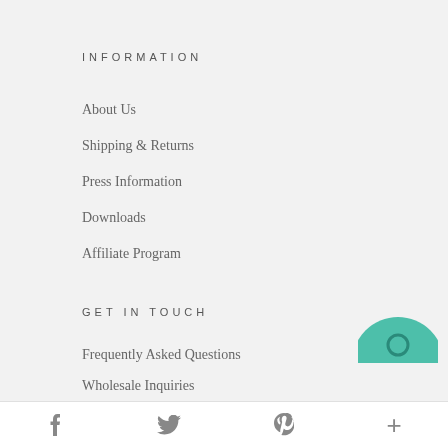INFORMATION
About Us
Shipping & Returns
Press Information
Downloads
Affiliate Program
GET IN TOUCH
Frequently Asked Questions
Wholesale Inquiries
Partnerships
hello@holstee.com
(917) 336-0603
f  twitter  p  +